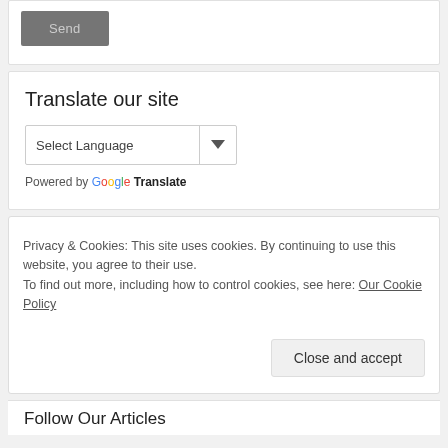[Figure (screenshot): Send button — grey rounded rectangle with text 'Send']
Translate our site
[Figure (screenshot): Select Language dropdown widget]
Powered by Google Translate
Privacy & Cookies: This site uses cookies. By continuing to use this website, you agree to their use.
To find out more, including how to control cookies, see here: Our Cookie Policy
Close and accept
Follow Our Articles